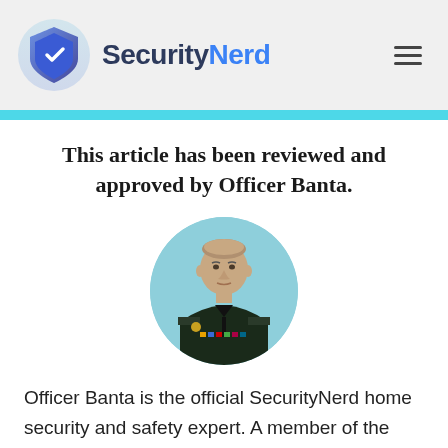SecurityNerd
This article has been reviewed and approved by Officer Banta.
[Figure (photo): Circular portrait photo of Officer Banta in military/police uniform with decorations and insignia, against a light blue background.]
Officer Banta is the official SecurityNerd home security and safety expert. A member of the Biloxi Police Department for over 24 years, Officer Banta reviews all articles